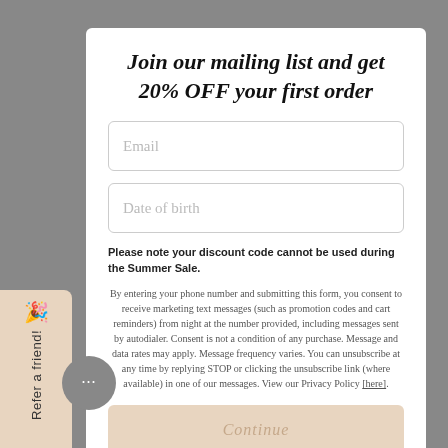Join our mailing list and get 20% OFF your first order
Email
Date of birth
Please note your discount code cannot be used during the Summer Sale.
By entering your phone number and submitting this form, you consent to receive marketing text messages (such as promotion codes and cart reminders) from night at the number provided, including messages sent by autodialer. Consent is not a condition of any purchase. Message and data rates may apply. Message frequency varies. You can unsubscribe at any time by replying STOP or clicking the unsubscribe link (where available) in one of our messages. View our Privacy Policy [here].
Continue